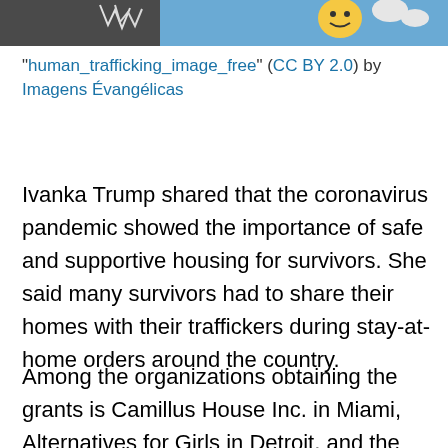[Figure (photo): Partial view of a colorful human trafficking awareness artwork or mural with illustrated figures against a blue background with clouds and a yellow smiley face]
“human_trafficking_image_free” (CC BY 2.0) by Imagens Evangélicas
Ivanka Trump shared that the coronavirus pandemic showed the importance of safe and supportive housing for survivors. She said many survivors had to share their homes with their traffickers during stay-at-home orders around the country.
Among the organizations obtaining the grants is Camillus House Inc. in Miami, Alternatives for Girls in Detroit, and the Jordan Community